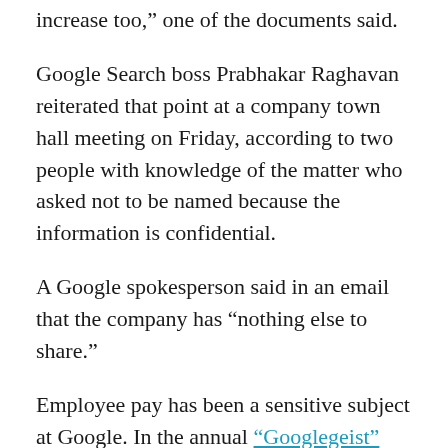increase too,” one of the documents said.
Google Search boss Prabhakar Raghavan reiterated that point at a company town hall meeting on Friday, according to two people with knowledge of the matter who asked not to be named because the information is confidential.
A Google spokesperson said in an email that the company has “nothing else to share.”
Employee pay has been a sensitive subject at Google. In the annual “Googlegeist” survey, which CEO Sundar Pichai considers a key indicator of employee satisfaction, staffers gave Google particularly poor marks on how compensation compares to pay for similar jobs at other companies. Employees also downgraded their ratings on the process of performance reviews and opportunities for career